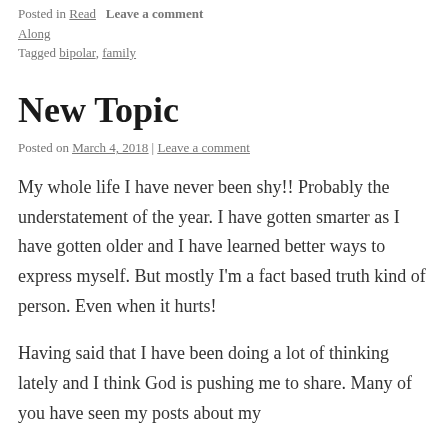Posted in Read Along   Leave a comment
Tagged bipolar, family
New Topic
Posted on March 4, 2018 | Leave a comment
My whole life I have never been shy!! Probably the understatement of the year. I have gotten smarter as I have gotten older and I have learned better ways to express myself. But mostly I'm a fact based truth kind of person. Even when it hurts!
Having said that I have been doing a lot of thinking lately and I think God is pushing me to share. Many of you have seen my posts about my...